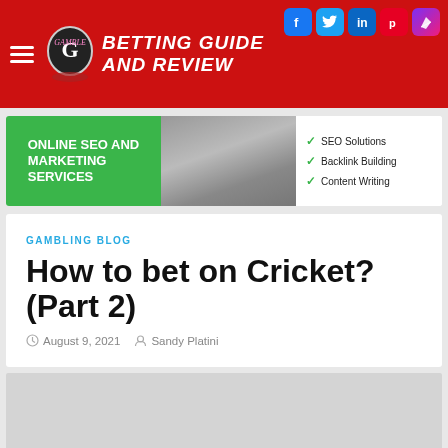BETTING GUIDE AND REVIEW
[Figure (infographic): Online SEO and Marketing Services advertisement banner with green left panel, center photo, and right checklist of SEO Solutions, Backlink Building, Content Writing]
GAMBLING BLOG
How to bet on Cricket? (Part 2)
August 9, 2021  Sandy Platini
[Figure (photo): Article featured image placeholder (gray rectangle)]